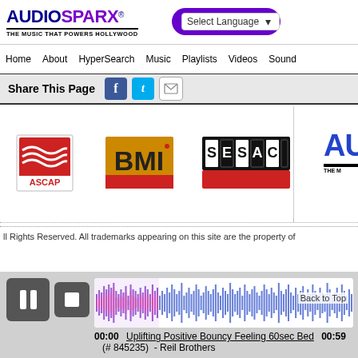AUDIOSPARX® - THE MUSIC THAT POWERS HOLLYWOOD | Select Language
Home  About  HyperSearch  Music  Playlists  Videos  Sound
Share This Page
[Figure (logo): ASCAP logo - red and white design]
[Figure (logo): BMI logo - yellow and red letters on dark background]
[Figure (logo): SESAC logo - black and red rectangular logo]
[Figure (logo): AudioSparx partial logo - AU in blue with tagline THE M...]
ll Rights Reserved. All trademarks appearing on this site are the property of
[Figure (other): Audio player waveform display showing Uplifting Positive Bouncy Feeling 60sec Bed]
00:00  Uplifting Positive Bouncy Feeling 60sec Bed  00:59
(# 845235)  - Reil Brothers